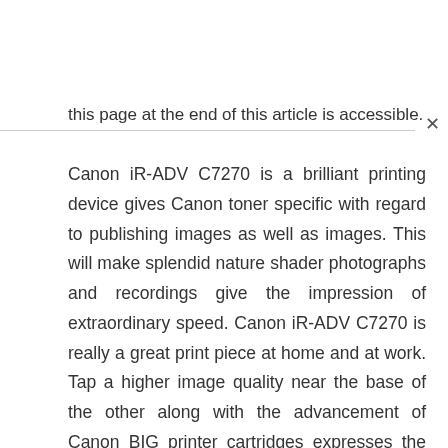this page at the end of this article is accessible.
Canon iR-ADV C7270 is a brilliant printing device gives Canon toner specific with regard to publishing images as well as images. This will make splendid nature shader photographs and recordings give the impression of extraordinary speed. Canon iR-ADV C7270 is really a great print piece at home and at work. Tap a higher image quality near the base of the other along with the advancement of Canon BIG printer cartridges expresses the stunning print experts on any of your reports and photos. The